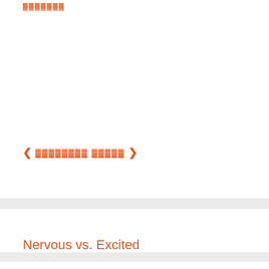▓▓▓▓▓▓▓
❮ ▓▓▓▓▓▓▓▓ ▓▓▓▓▓ ❯
Nervous vs. Excited
Show Off
Catch-22 Bike Lane
Suit vs suite
Butt Dial